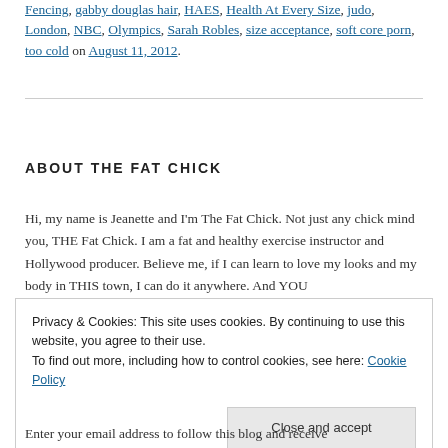Fencing, gabby douglas hair, HAES, Health At Every Size, judo, London, NBC, Olympics, Sarah Robles, size acceptance, soft core porn, too cold on August 11, 2012.
ABOUT THE FAT CHICK
Hi, my name is Jeanette and I'm The Fat Chick. Not just any chick mind you, THE Fat Chick. I am a fat and healthy exercise instructor and Hollywood producer. Believe me, if I can learn to love my looks and my body in THIS town, I can do it anywhere. And YOU
Privacy & Cookies: This site uses cookies. By continuing to use this website, you agree to their use. To find out more, including how to control cookies, see here: Cookie Policy
Enter your email address to follow this blog and receive